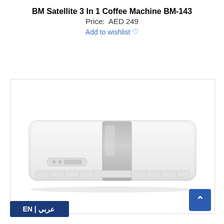BM Satellite 3 In 1 Coffee Machine BM-143
Price:  AED 249
Add to wishlist ♡
[Figure (photo): Product photo of a white wall-mounted air conditioning unit with a grey metallic center panel, displayed on white background inside a bordered frame.]
EN | عربي